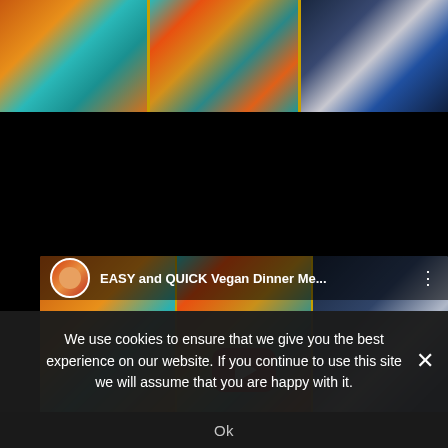[Figure (photo): Three food photos in a horizontal strip: pasta with meat sauce on teal plate (left), noodle/vegetable stir-fry in teal bowl (center), flatbread/quesadilla slices on blue-striped cloth (right)]
[Figure (screenshot): YouTube video thumbnail titled 'EASY and QUICK Vegan Dinner Me...' showing same three food photos as background, with YouTube play button overlay and channel avatar in top bar]
We use cookies to ensure that we give you the best experience on our website. If you continue to use this site we will assume that you are happy with it.
Ok